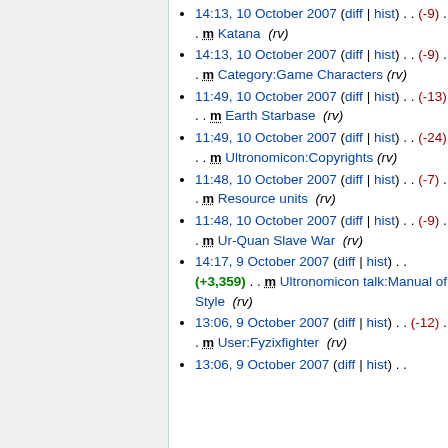14:13, 10 October 2007 (diff | hist) . . (-9) . . m Katana (rv)
14:13, 10 October 2007 (diff | hist) . . (-9) . . m Category:Game Characters (rv)
11:49, 10 October 2007 (diff | hist) . . (-13) . . m Earth Starbase (rv)
11:49, 10 October 2007 (diff | hist) . . (-24) . . m Ultronomicon:Copyrights (rv)
11:48, 10 October 2007 (diff | hist) . . (-7) . . m Resource units (rv)
11:48, 10 October 2007 (diff | hist) . . (-9) . . m Ur-Quan Slave War (rv)
14:17, 9 October 2007 (diff | hist) . . (+3,359) . . m Ultronomicon talk:Manual of Style (rv)
13:06, 9 October 2007 (diff | hist) . . (-12) . . m User:Fyzixfighter (rv)
13:06, 9 October 2007 (diff | hist) . . (truncated)